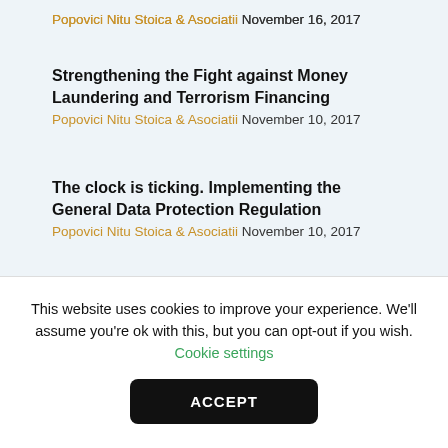Popovici Nitu Stoica & Asociatii November 16, 2017
Strengthening the Fight against Money Laundering and Terrorism Financing
Popovici Nitu Stoica & Asociatii November 10, 2017
The clock is ticking. Implementing the General Data Protection Regulation
Popovici Nitu Stoica & Asociatii November 10, 2017
This website uses cookies to improve your experience. We'll assume you're ok with this, but you can opt-out if you wish. Cookie settings